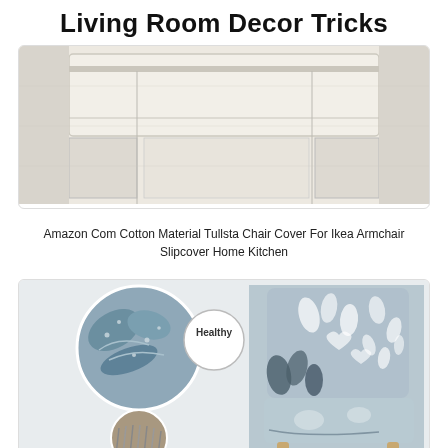Living Room Decor Tricks
[Figure (photo): Close-up of a beige/cream cotton fabric chair slipcover showing texture and seams]
Amazon Com Cotton Material Tullsta Chair Cover For Ikea Armchair Slipcover Home Kitchen
[Figure (photo): Gray floral/botanical patterned chair slipcover shown on a dining chair, with close-up circular detail insets labeled 'Healthy', and a red CLOSE button at bottom]